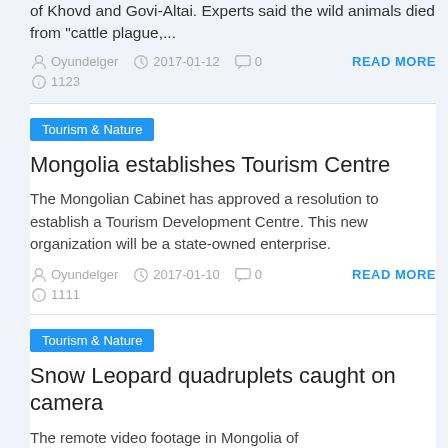of Khovd and Govi-Altai. Experts said the wild animals died from "cattle plague,...
Oyundelger  2017-01-12  0  1123  READ MORE
Tourism & Nature
Mongolia establishes Tourism Centre
The Mongolian Cabinet has approved a resolution to establish a Tourism Development Centre. This new organization will be a state-owned enterprise.
Oyundelger  2017-01-10  0  1111  READ MORE
Tourism & Nature
Snow Leopard quadruplets caught on camera
The remote video footage in Mongolia of